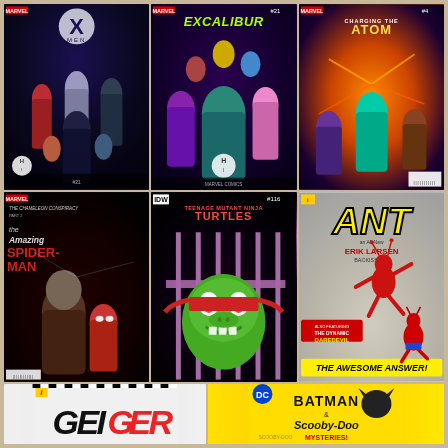[Figure (photo): Collection of 8 comic book covers arranged in a 3x2 grid with 2 more at bottom. Top row: X-Men, Excalibur #21, Charging the Atom #4. Middle row: The Amazing Spider-Man (The Chameleon Conspiracy Part 2), Teenage Mutant Ninja Turtles, ANT. Bottom row: Geiger, Batman & Scooby-Doo Mysteries.]